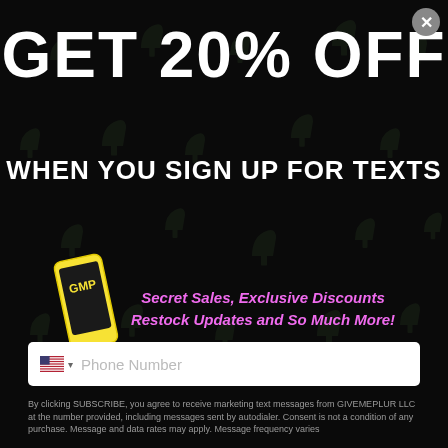GET 20% OFF
WHEN YOU SIGN UP FOR TEXTS
Secret Sales, Exclusive Discounts
Restock Updates and So Much More!
Phone Number
By clicking SUBSCRIBE, you agree to receive marketing text messages from GIVEMEPLUR LLC at the number provided, including messages sent by autodialer. Consent is not a condition of any purchase. Message and data rates may apply. Message frequency varies